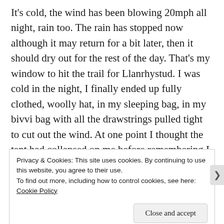It's cold, the wind has been blowing 20mph all night, rain too. The rain has stopped now although it may return for a bit later, then it should dry out for the rest of the day. That's my window to hit the trail for Llanrhystud. I was cold in the night, I finally ended up fully clothed, woolly hat, in my sleeping bag, in my bivvi bag with all the drawstrings pulled tight to cut out the wind. At one point I thought the tent had collapsed on me before remembering I was in the bivvi and reorienting my sight out of the hole to see the tent was still up.
Privacy & Cookies: This site uses cookies. By continuing to use this website, you agree to their use.
To find out more, including how to control cookies, see here:
Cookie Policy
Close and accept